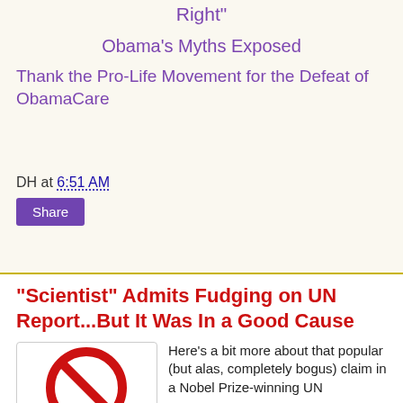Right"
Obama's Myths Exposed
Thank the Pro-Life Movement for the Defeat of ObamaCare
DH at 6:51 AM
Share
"Scientist" Admits Fudging on UN Report...But It Was In a Good Cause
[Figure (illustration): Red prohibition/no symbol (circle with diagonal bar) on white background inside a rounded rectangle box]
Here's a bit more about that popular (but alas, completely bogus) claim in a Nobel Prize-winning UN